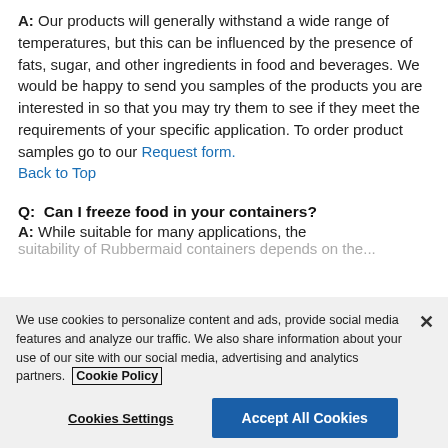A: Our products will generally withstand a wide range of temperatures, but this can be influenced by the presence of fats, sugar, and other ingredients in food and beverages. We would be happy to send you samples of the products you are interested in so that you may try them to see if they meet the requirements of your specific application. To order product samples go to our Request form.
Back to Top
Q: Can I freeze food in your containers?
A: While suitable for many applications, the suitability of Rubbermaid containers depends on the...
We use cookies to personalize content and ads, provide social media features and analyze our traffic. We also share information about your use of our site with our social media, advertising and analytics partners. Cookie Policy
Cookies Settings
Accept All Cookies